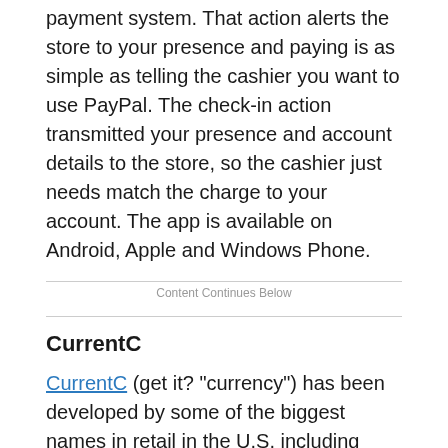payment system. That action alerts the store to your presence and paying is as simple as telling the cashier you want to use PayPal. The check-in action transmitted your presence and account details to the store, so the cashier just needs match the charge to your account. The app is available on Android, Apple and Windows Phone.
Content Continues Below
CurrentC
CurrentC (get it? "currency") has been developed by some of the biggest names in retail in the U.S. including Sears, Target and Wal-Mart. It will be